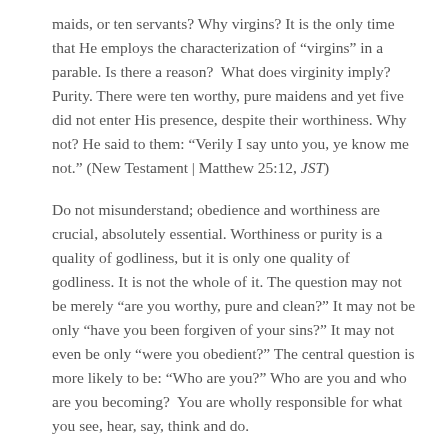maids, or ten servants? Why virgins? It is the only time that He employs the characterization of “virgins” in a parable. Is there a reason?  What does virginity imply? Purity. There were ten worthy, pure maidens and yet five did not enter His presence, despite their worthiness. Why not? He said to them: “Verily I say unto you, ye know me not.” (New Testament | Matthew 25:12, JST)
Do not misunderstand; obedience and worthiness are crucial, absolutely essential. Worthiness or purity is a quality of godliness, but it is only one quality of godliness. It is not the whole of it. The question may not be merely “are you worthy, pure and clean?” It may not be only “have you been forgiven of your sins?” It may not even be only “were you obedient?” The central question is more likely to be: “Who are you?” Who are you and who are you becoming?  You are wholly responsible for what you see, hear, say, think and do.